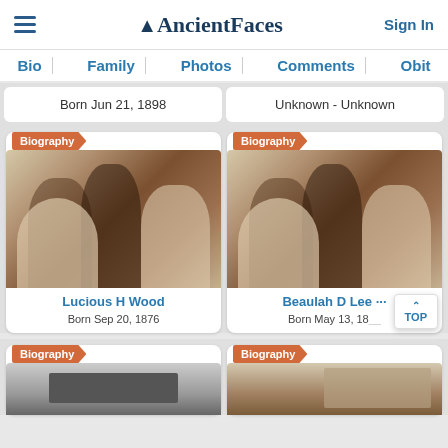AncientFaces — Sign In
Bio | Family | Photos | Comments | Obit
Born Jun 21, 1898
Unknown - Unknown
[Figure (photo): Sepia family portrait with biography badge — Lucious H Wood]
Lucious H Wood
Born Sep 20, 1876
[Figure (photo): Sepia family portrait with biography badge — Beaulah D Lee]
Beaulah D Lee ...
Born May 13, 18...
[Figure (photo): Black and white photo partial — biography card bottom]
[Figure (photo): Sepia photo partial — biography card bottom]